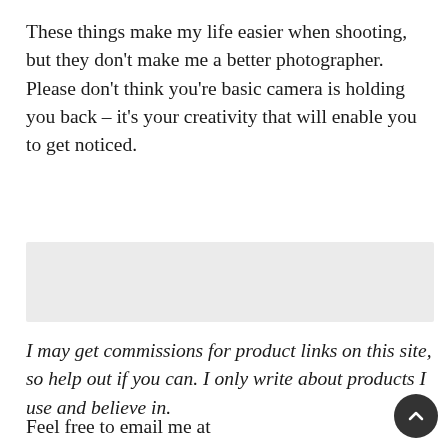These things make my life easier when shooting, but they don't make me a better photographer. Please don't think you're basic camera is holding you back – it's your creativity that will enable you to get noticed.
[Figure (other): Gray advertisement/placeholder box]
I may get commissions for product links on this site, so help out if you can. I only write about products I use and believe in.
Feel free to email me at mike@machineswithsouls.com with any question